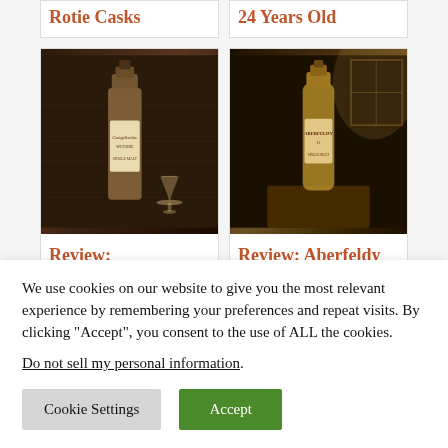Rotie Casks
24 Years Old
[Figure (photo): A bottle of Craigellachie whisky with a Glencairn glass on a dark leather tufted background]
Review: Craigellachie
[Figure (photo): A bottle of Aberfeldy whisky on a wooden surface with dramatic backlit window light]
Review: Aberfeldy 12, 16, and 21
We use cookies on our website to give you the most relevant experience by remembering your preferences and repeat visits. By clicking “Accept”, you consent to the use of ALL the cookies.
Do not sell my personal information.
Cookie Settings
Accept